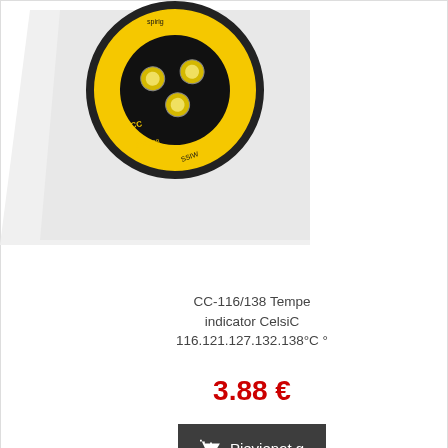[Figure (photo): CC-116/138 temperature indicator product photo showing yellow circular label with multiple sensor dots on white background, partially cropped]
CC-116/138 Temperature indicator CelsiComp 116.121.127.132.138°C °
3.88 €
Pievienot g
Ir pieejams:
[Figure (photo): Second temperature indicator product photo showing yellow circular label with sensor dots, tilted on yellow background, partially cropped]